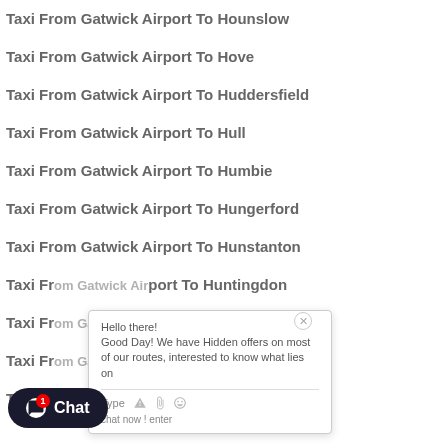Taxi From Gatwick Airport To Hounslow
Taxi From Gatwick Airport To Hove
Taxi From Gatwick Airport To Huddersfield
Taxi From Gatwick Airport To Hull
Taxi From Gatwick Airport To Humbie
Taxi From Gatwick Airport To Hungerford
Taxi From Gatwick Airport To Hunstanton
Taxi From Gatwick Airport To Huntingdon
Taxi From Gatwick Airport To Huntly
Taxi From Gatwick Airport To Hyde
Taxi From Gatwick Airport To Hythe